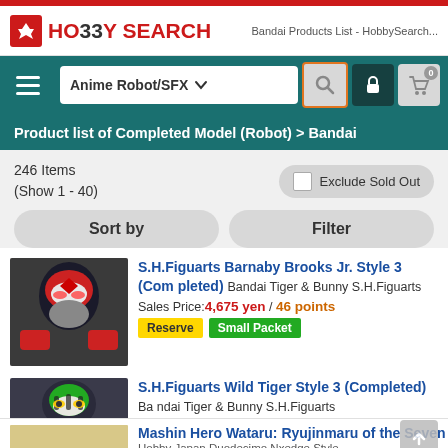Bandai Products List - HobbySearch...
[Figure (logo): HobbySearch logo with red flame icon, red and black text]
[Figure (screenshot): Navigation bar with hamburger menu, Anime Robot/SFX dropdown, search icon (highlighted orange), lock icon, and cart icon showing 0]
Product list of Completed Model (Robot) > Bandai
246 Items (Show 1 - 40)
Exclude Sold Out
Sort by
Filter
S.H.Figuarts Barnaby Brooks Jr. Style 3 (Completed) Bandai Tiger & Bunny S.H.Figuarts
Sales Price: 4,675 yen / 46 points
[Reserve] [Small Packet]
S.H.Figuarts Wild Tiger Style 3 (Completed) Bandai Tiger & Bunny S.H.Figuarts
Sales Price: 4,675 yen / 46 points
[NEW] [Small Packet]
Mashin Hero Wataru: Ryujinmaru of the Seven
Hobby Japan Duodecimo Nxedge Style